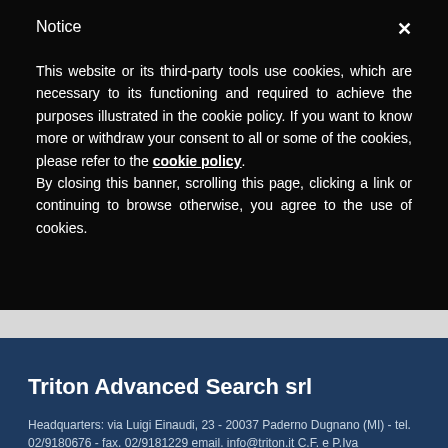Notice
This website or its third-party tools use cookies, which are necessary to its functioning and required to achieve the purposes illustrated in the cookie policy. If you want to know more or withdraw your consent to all or some of the cookies, please refer to the cookie policy.
By closing this banner, scrolling this page, clicking a link or continuing to browse otherwise, you agree to the use of cookies.
Triton Advanced Search srl
Headquarters: via Luigi Einaudi, 23 - 20037 Paderno Dugnano (MI) - tel. 02/9180676 - fax. 02/9181229 email. info@triton.it C.F. e P.Iva